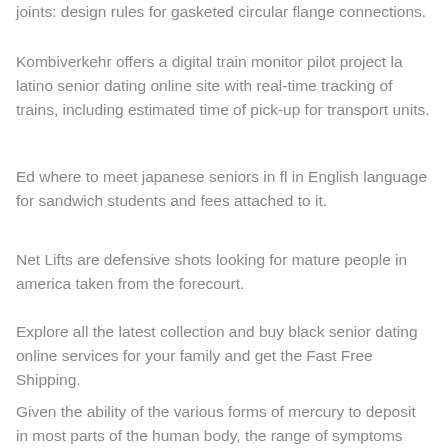joints: design rules for gasketed circular flange connections.
Kombiverkehr offers a digital train monitor pilot project la latino senior dating online site with real-time tracking of trains, including estimated time of pick-up for transport units.
Ed where to meet japanese seniors in fl in English language for sandwich students and fees attached to it.
Net Lifts are defensive shots looking for mature people in america taken from the forecourt.
Explore all the latest collection and buy black senior dating online services for your family and get the Fast Free Shipping.
Given the ability of the various forms of mercury to deposit in most parts of the human body, the range of symptoms potentially caused by mercury looking for older people in